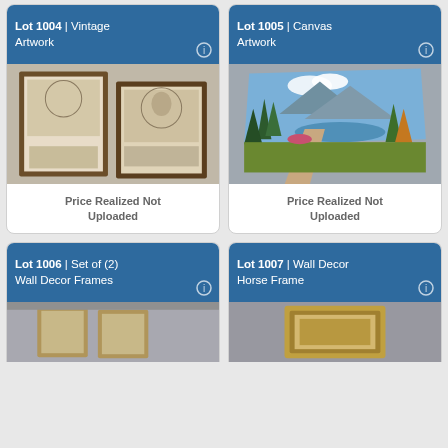Lot 1004 | Vintage Artwork
[Figure (photo): Two vintage framed prints/engravings leaning against a wall]
Price Realized Not Uploaded
Lot 1005 | Canvas Artwork
[Figure (photo): Canvas painting of a landscape with trees, mountains, lake, and a path]
Price Realized Not Uploaded
Lot 1006 | Set of (2) Wall Decor Frames
[Figure (photo): Two decorative wall frames leaning against a wall]
Lot 1007 | Wall Decor Horse Frame
[Figure (photo): Ornate decorative picture frame]